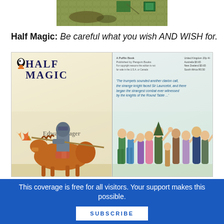[Figure (photo): Top portion of a book cover showing a textured greenish-brown surface with a small green stamp/seal in the upper right corner]
Half Magic: Be careful what you wish AND WISH for.
[Figure (photo): Front and back cover of 'Half Magic' by Edward Eager, a Puffin Book published by Penguin Books. The front cover shows a knight on horseback with a lance, in illustrated style. The back cover shows a quote about trumpets and Sir Lancelot, with a crowd of illustrated medieval figures. Prices listed for United Kingdom, Australia, New Zealand, and South Africa.]
This coverage is free for all visitors. Your support makes this possible.
SUBSCRIBE